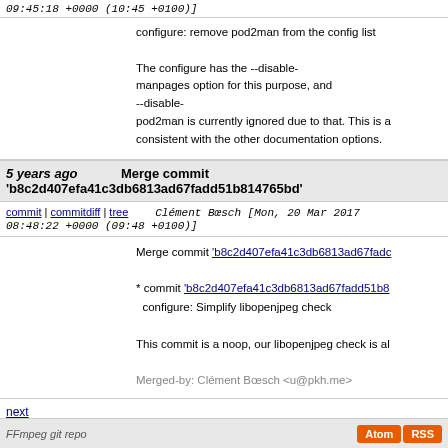09:45:18 +0000 (10:45 +0100)]
configure: remove pod2man from the config list

The configure has the --disable-manpages option for this purpose, and --disable-pod2man is currently ignored due to that. This is a consistent with the other documentation options.
5 years ago   Merge commit 'b8c2d407efa41c3db6813ad67fadd51b814765bd'
commit | commitdiff | tree   Clément Bœsch [Mon, 20 Mar 2017 08:48:22 +0000 (09:48 +0100)]
Merge commit 'b8c2d407efa41c3db6813ad67fadd...

* commit 'b8c2d407efa41c3db6813ad67fadd51b8...
  configure: Simplify libopenjpeg check

This commit is a noop, our libopenjpeg check is al...

Merged-by: Clément Bœsch <u@pkh.me>
next
FFmpeg git repo